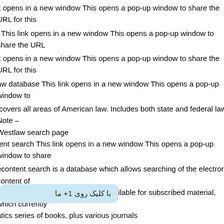k opens in a new window This opens a pop-up window to share the URL for this
This link opens in a new window This opens a pop-up window to share the URL
k opens in a new window This opens a pop-up window to share the URL for this
aw database This link opens in a new window This opens a pop-up window to
covers all areas of American law. Includes both state and federal laws. Note – Westlaw search page
tent search This link opens in a new window This opens a pop-up window to share
econtent search is a database which allows searching of the electronic content of atical Society. Full text access is available for subscribed material, which currently atics series of books, plus various journals
ns in a new window This opens a pop-up window to share the URL for this
mathematical works in progress hosted by the American Mathematical Society as a students
es, textbooks, and research expositions in progress. They have not been in progress, are subject to significant revision
ens a pop-up window to share the URL for this database
ew window This opens a pop-up window to share the URL for this
new window This opens a pop-up window to share the URL for this database
ew window This opens a pop-up window to share the URL for this database
با کلیک روی 1+ ما